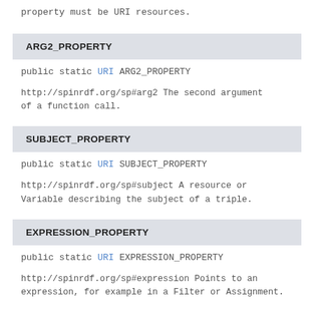property must be URI resources.
ARG2_PROPERTY
public static URI ARG2_PROPERTY
http://spinrdf.org/sp#arg2 The second argument of a function call.
SUBJECT_PROPERTY
public static URI SUBJECT_PROPERTY
http://spinrdf.org/sp#subject A resource or Variable describing the subject of a triple.
EXPRESSION_PROPERTY
public static URI EXPRESSION_PROPERTY
http://spinrdf.org/sp#expression Points to an expression, for example in a Filter or Assignment.